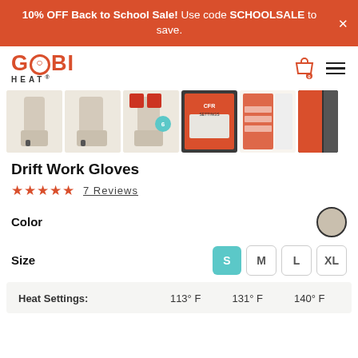10% OFF Back to School Sale! Use code SCHOOLSALE to save.
[Figure (logo): GOBI HEAT logo in orange and dark text]
[Figure (photo): Six product thumbnail images of Drift Work Gloves in beige/cream color]
Drift Work Gloves
★★★★★  7 Reviews
Color
Size   S  M  L  XL
| Heat Settings: | 113° F | 131° F | 140° F |
| --- | --- | --- | --- |